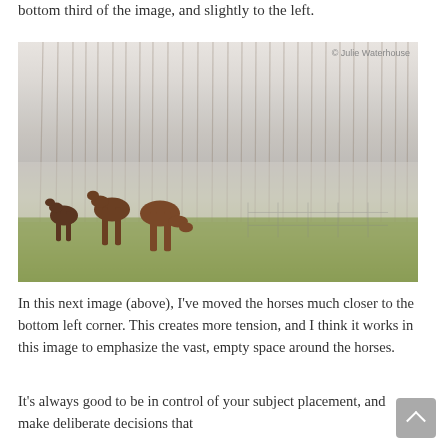bottom third of the image, and slightly to the left.
[Figure (photo): Three horses grazing in a misty field with tall bare trees in the background. The horses are in the bottom-left portion of the image. Copyright mark: © Julie Waterhouse]
In this next image (above), I've moved the horses much closer to the bottom left corner. This creates more tension, and I think it works in this image to emphasize the vast, empty space around the horses.
It's always good to be in control of your subject placement, and make deliberate decisions that